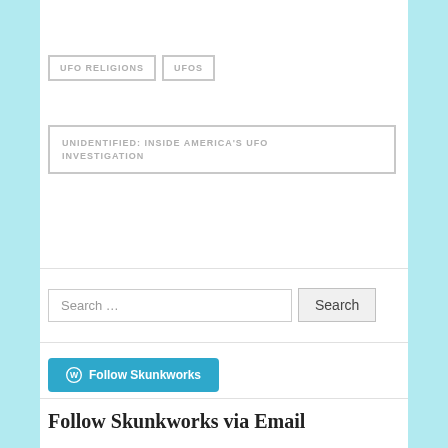UFO RELIGIONS
UFOS
UNIDENTIFIED: INSIDE AMERICA'S UFO INVESTIGATION
[Figure (other): Search bar with text 'Search …' and a Search button]
[Figure (other): Follow Skunkworks button in blue with WordPress icon]
Follow Skunkworks via Email
Enter your email address to follow this blog and receive notifications of new posts by email.